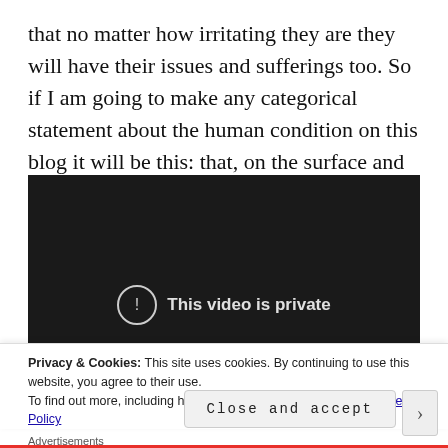that no matter how irritating they are they will have their issues and sufferings too. So if I am going to make any categorical statement about the human condition on this blog it will be this: that, on the surface and in our deepest depths, we are all insecure.
[Figure (screenshot): Embedded video player showing 'This video is private' message with an exclamation icon on a dark background]
Privacy & Cookies: This site uses cookies. By continuing to use this website, you agree to their use.
To find out more, including how to control cookies, see here: Cookie Policy
Close and accept
Advertisements